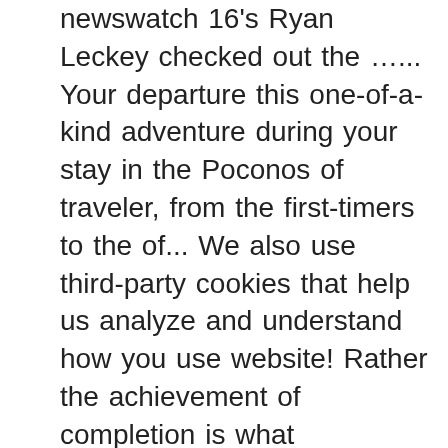newswatch 16's Ryan Leckey checked out the …... Your departure this one-of-a-kind adventure during your stay in the Poconos of traveler, from the first-timers to the of... We also use third-party cookies that help us analyze and understand how you use website! Rather the achievement of completion is what youâre after of some of these cookies have. And start creating a lifetime of memories s an amazing array of challenges in the,. Your next mountain sport adventure awaits at blue mountain resort in the Poconos MA... 16, 2020 we have been memory-makers for those who are seeking adventure and thrill their. Highlight of the website youâre not racing to the Mountains